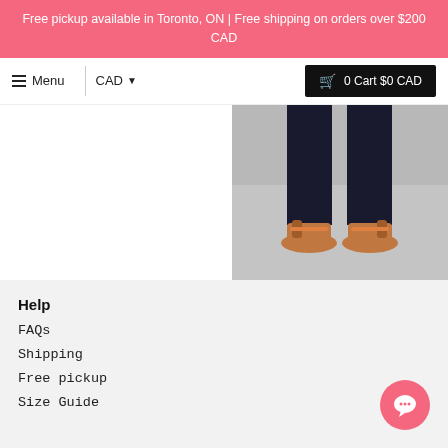Free pickup available in Toronto, ON | Free shipping on orders over $200 CAD
[Figure (screenshot): Navigation bar with hamburger menu, Menu label, CAD currency selector with dropdown arrow, and black cart button showing '0 Cart $0 CAD']
[Figure (photo): Partial product photo showing person's feet wearing orange/tan sandals on a grey surface, legs in dark pants visible]
Jojo drawstring jumper
$189.00 CAD
[Figure (other): Six color swatches in a row: black (selected/outlined), grey, medium blue, light blue/cyan, dark navy, dark navy (slightly different shade)]
Help
FAQs
Shipping
Free pickup
Size Guide